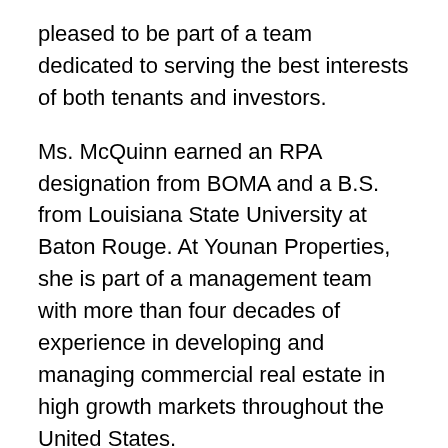pleased to be part of a team dedicated to serving the best interests of both tenants and investors.
Ms. McQuinn earned an RPA designation from BOMA and a B.S. from Louisiana State University at Baton Rouge. At Younan Properties, she is part of a management team with more than four decades of experience in developing and managing commercial real estate in high growth markets throughout the United States.
Younan Properties' holdings in Dallas and Houston, TX include a total of more than